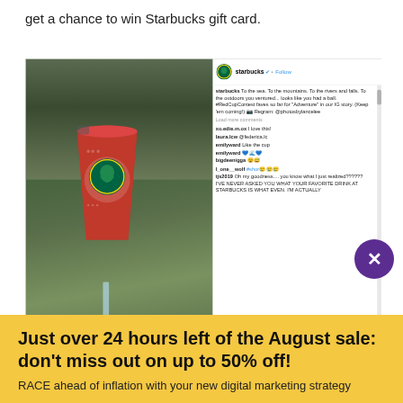get a chance to win Starbucks gift card.
[Figure (screenshot): Screenshot of a Starbucks Instagram post showing a person holding a red Starbucks holiday cup in front of a rocky waterfall landscape. The post shows the Starbucks verified account, a caption about #RedCupContest, comments from users, 324,488 likes, and a date.]
Just over 24 hours left of the August sale: don't miss out on up to 50% off!
RACE ahead of inflation with your new digital marketing strategy